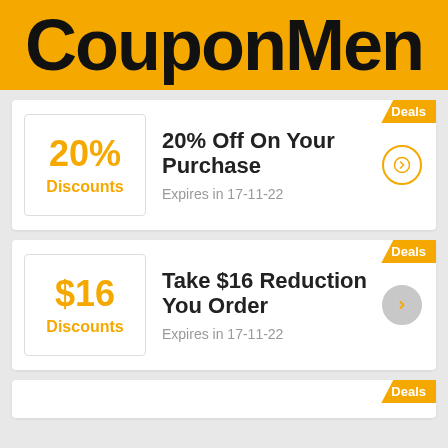CouponMen
20% Discounts — 20% Off On Your Purchase — Expires in 17-11-22
$16 Discounts — Take $16 Reduction You Order — Expires in 17-11-22